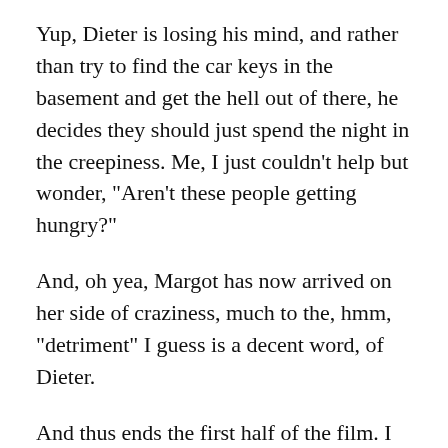Yup, Dieter is losing his mind, and rather than try to find the car keys in the basement and get the hell out of there, he decides they should just spend the night in the creepiness. Me, I just couldn’t help but wonder, “Aren’t these people getting hungry?”
And, oh yea, Margot has now arrived on her side of craziness, much to the, hmm, “detriment” I guess is a decent word, of Dieter.
And thus ends the first half of the film. I was sucked in.
Then came the second half.
As the second half began, I completely understood the insanity of the first half, and that was fine. The bummer part, though, for this review? I can’t